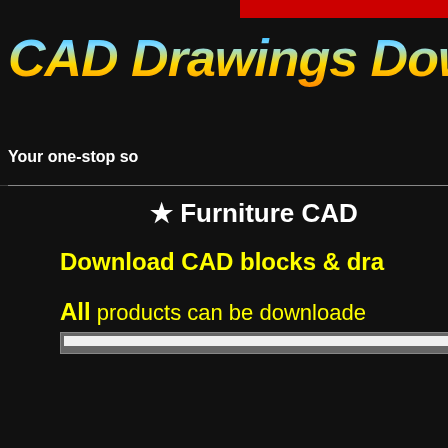CAD Drawings Download
Your one-stop so
★ Furniture CAD
Download CAD blocks & dra
All products can be downloade